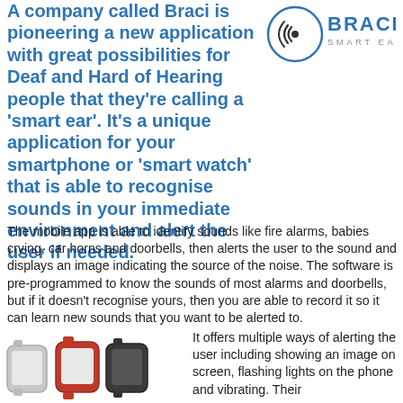A company called Braci is pioneering a new application with great possibilities for Deaf and Hard of Hearing people that they're calling a 'smart ear'. It's a unique application for your smartphone or 'smart watch' that is able to recognise sounds in your immediate environment and alert the user if needed.
[Figure (logo): Braci Smart Ear logo — circular sound wave icon with BRACI and SMART EAR text]
The mobile app is able to identify sounds like fire alarms, babies crying, car horns and doorbells, then alerts the user to the sound and displays an image indicating the source of the noise. The software is pre-programmed to know the sounds of most alarms and doorbells, but if it doesn't recognise yours, then you are able to record it so it can learn new sounds that you want to be alerted to.
[Figure (photo): Smartwatch devices in silver, red, and black shown from the front]
It offers multiple ways of alerting the user including showing an image on screen, flashing lights on the phone and vibrating. Their